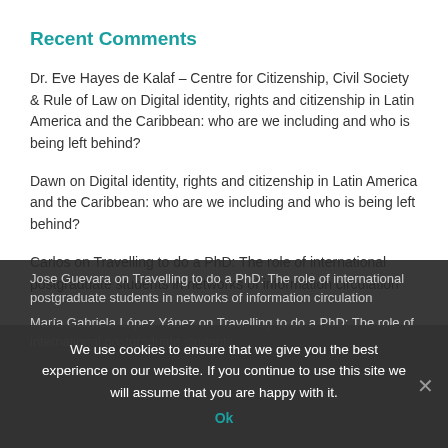Recent Comments
Dr. Eve Hayes de Kalaf – Centre for Citizenship, Civil Society & Rule of Law on Digital identity, rights and citizenship in Latin America and the Caribbean: who are we including and who is being left behind?
Dawn on Digital identity, rights and citizenship in Latin America and the Caribbean: who are we including and who is being left behind?
Carlos on Travelling to do a PhD: The role of international postgraduate students in networks of information circulation
Jose Guevara on Travelling to do a PhD: The role of international postgraduate students in networks of information circulation
María Gabriela López Yánez on Travelling to do a PhD: The role of international postgraduate students
We use cookies to ensure that we give you the best experience on our website. If you continue to use this site we will assume that you are happy with it.